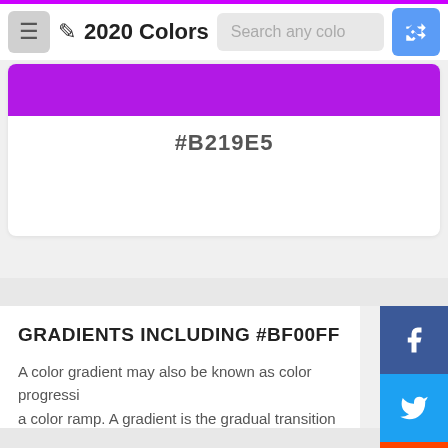2020 Colors — Search any color
[Figure (other): Purple color swatch #B219E5]
#B219E5
GRADIENTS INCLUDING #BF00FF
A color gradient may also be known as color progression or a color ramp. A gradient is the gradual transition of one color into another. This section showcases gradients featuring #bf00ff as the base color. The secondary colors come from the section above.